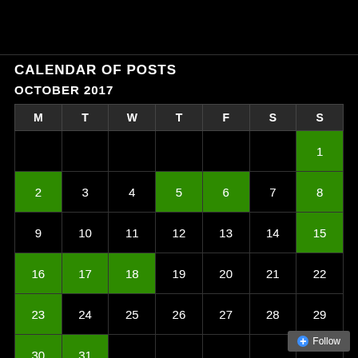CALENDAR OF POSTS
OCTOBER 2017
| M | T | W | T | F | S | S |
| --- | --- | --- | --- | --- | --- | --- |
|  |  |  |  |  |  | 1 |
| 2 | 3 | 4 | 5 | 6 | 7 | 8 |
| 9 | 10 | 11 | 12 | 13 | 14 | 15 |
| 16 | 17 | 18 | 19 | 20 | 21 | 22 |
| 23 | 24 | 25 | 26 | 27 | 28 | 29 |
| 30 | 31 |  |  |  |  |  |
« Sep    Nov »